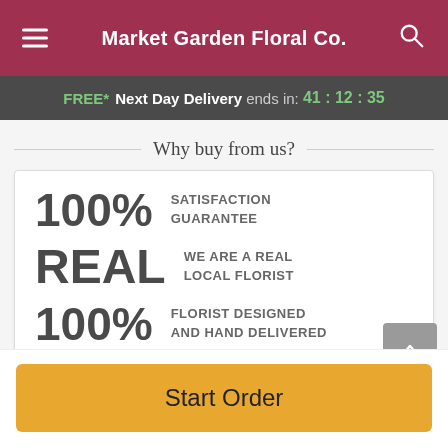Market Garden Floral Co.
FREE* Next Day Delivery ends in: 41 : 12 : 35
Why buy from us?
100% SATISFACTION GUARANTEE
REAL WE ARE A REAL LOCAL FLORIST
100% FLORIST DESIGNED AND HAND DELIVERED
Start Order